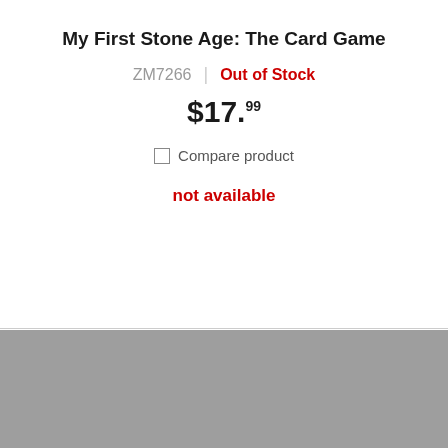My First Stone Age: The Card Game
ZM7266  |  Out of Stock
$17.99
Compare product
not available
[Figure (logo): Asmodee logo — white rounded rectangle with colorful border gradient and 'asmodee' text]
Asmodee North